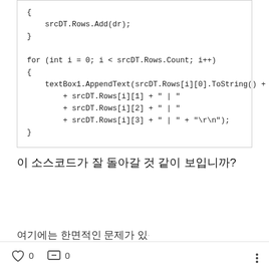{
    srcDT.Rows.Add(dr);
}

for (int i = 0; i < srcDT.Rows.Count; i++)
{
    textBox1.AppendText(srcDT.Rows[i][0].ToString() + " | '"
        + srcDT.Rows[i][1] + " | "
        + srcDT.Rows[i][2] + " | "
        + srcDT.Rows[i][3] + " | " + "\r\n");
}
이 소스코드가 잘 돌아갈 것 같이 보입니까?
여기에는 한면적인 문제가 있습니다.